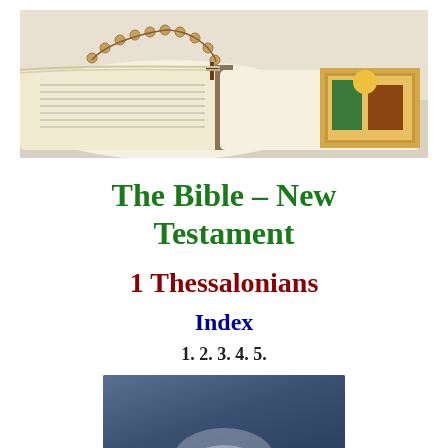[Figure (photo): Open Bible with a rosary cross draped across it and colorful illustrated page visible on the right side, on a white cloth surface]
The Bible – New Testament
1 Thessalonians
Index
1. 2. 3. 4. 5.
[Figure (photo): Partial photo at bottom of page, appears to show a dark/blue toned image, partially cropped]